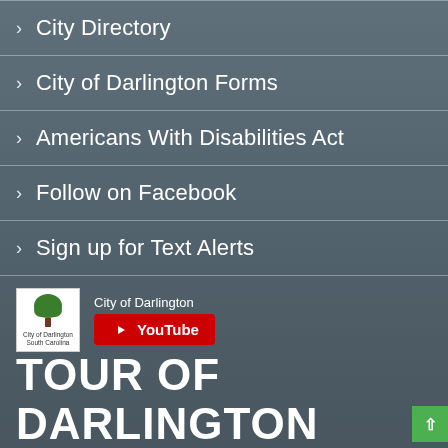City Directory
City of Darlington Forms
Americans With Disabilities Act
Follow on Facebook
Sign up for Text Alerts
[Figure (logo): City of Darlington logo with green tree and text, with YouTube button]
TOUR OF DARLINGTON